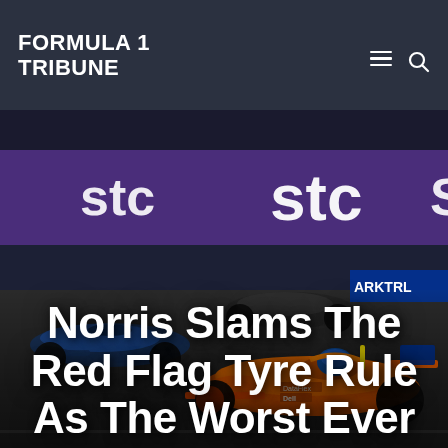FORMULA 1 TRIBUNE
[Figure (photo): Formula 1 racing cars on track at night with stc advertising boards in background, featuring a McLaren orange car in the foreground]
Norris Slams The Red Flag Tyre Rule As The Worst Ever